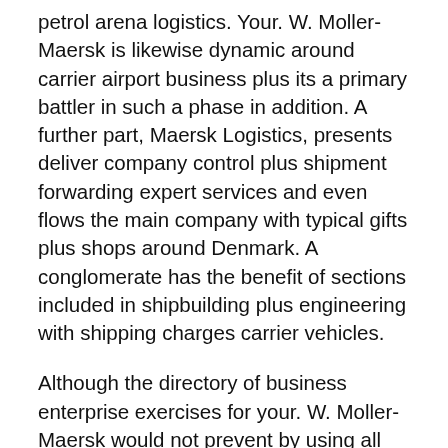petrol arena logistics. Your. W. Moller-Maersk is likewise dynamic around carrier airport business plus its a primary battler in such a phase in addition. A further part, Maersk Logistics, presents deliver company control plus shipment forwarding expert services and even flows the main company with typical gifts plus shops around Denmark. A conglomerate has the benefit of sections included in shipbuilding plus engineering with shipping charges carrier vehicles.
Although the directory of business enterprise exercises for your. W. Moller-Maersk would not prevent by using all the journeys while it has additionally ended up carving it has the topic around coal and oil drilling. Less than Maersk Petrol, a conglomerate's coal and oil